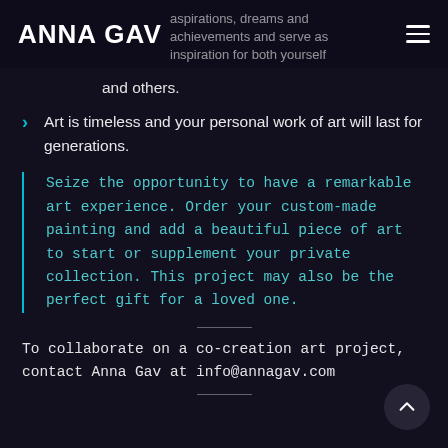ANNA GAV
aspirations, dreams and achievements and serve as inspiration for both yourself and others.
Art is timeless and your personal work of art will last for generations.
Seize the opportunity to have a remarkable art experience. Order your custom-made painting and add a beautiful piece of art to start or supplement your private collection. This project may also be the perfect gift for a loved one.
To collaborate on a co-creation art project, contact Anna Gav at info@annagav.com